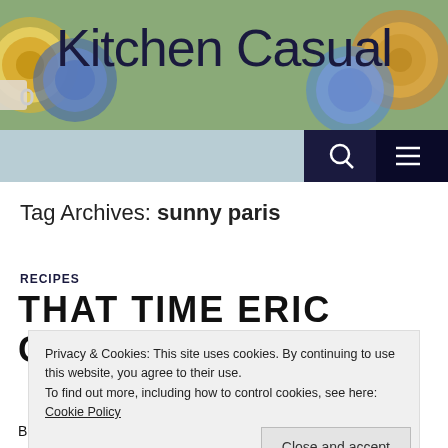Kitchen Casual
[Figure (screenshot): Website navigation bar with search icon and hamburger menu on dark navy background]
Tag Archives: sunny paris
RECIPES
THAT TIME ERIC COOKED
Privacy & Cookies: This site uses cookies. By continuing to use this website, you agree to their use.
To find out more, including how to control cookies, see here: Cookie Policy
[Close and accept button]
Blog hijacked! I'm taking control of Katy's blog to talk about a